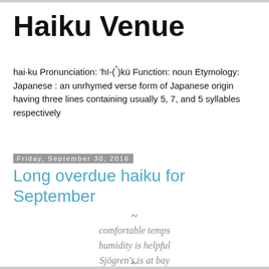Haiku Venue
hai·ku Pronunciation: 'hI-(")’kü Function: noun Etymology: Japanese : an unrhymed verse form of Japanese origin having three lines containing usually 5, 7, and 5 syllables respectively
Friday, September 30, 2016
Long overdue haiku for September
~
comfortable temps
humidity is helpful
Sjögren's is at bay
~